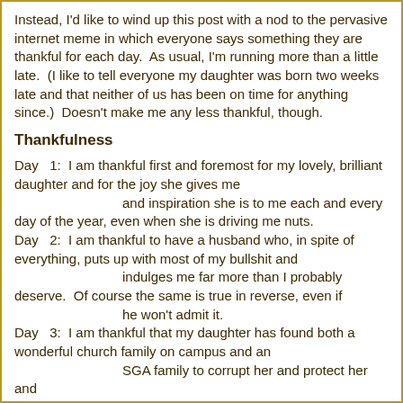Instead, I'd like to wind up this post with a nod to the pervasive internet meme in which everyone says something they are thankful for each day.  As usual, I'm running more than a little late.  (I like to tell everyone my daughter was born two weeks late and that neither of us has been on time for anything since.)  Doesn't make me any less thankful, though.
Thankfulness
Day   1:  I am thankful first and foremost for my lovely, brilliant daughter and for the joy she gives me and inspiration she is to me each and every day of the year, even when she is driving me nuts.
Day   2:  I am thankful to have a husband who, in spite of everything, puts up with most of my bullshit and indulges me far more than I probably deserve.  Of course the same is true in reverse, even if he won't admit it.
Day   3:  I am thankful that my daughter has found both a wonderful church family on campus and an SGA family to corrupt her and protect her and